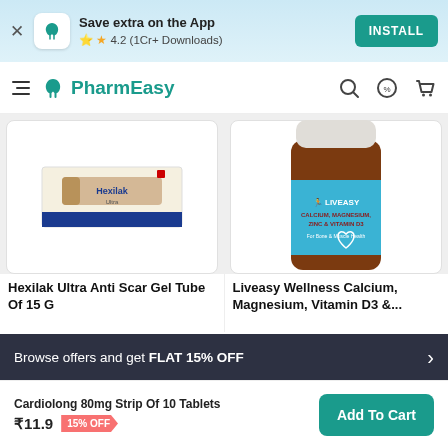Save extra on the App · 4.2 (1Cr+ Downloads) · INSTALL
PharmEasy
[Figure (photo): Hexilak Ultra Anti Scar Gel tube and box product photo]
[Figure (photo): Liveasy Wellness Calcium, Magnesium, Zinc & Vitamin D3 supplement bottle photo]
Hexilak Ultra Anti Scar Gel Tube Of 15 G
Liveasy Wellness Calcium, Magnesium, Vitamin D3 &...
Browse offers and get FLAT 15% OFF
Cardiolong 80mg Strip Of 10 Tablets
₹11.9  15% OFF
Add To Cart